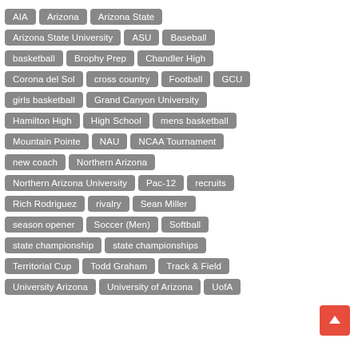AIA
Arizona
Arizona State
Arizona State University
ASU
Baseball
basketball
Brophy Prep
Chandler High
Corona del Sol
cross country
Football
GCU
girls basketball
Grand Canyon University
Hamilton High
High School
mens basketball
Mountain Pointe
NAU
NCAA Tournament
new coach
Northern Arizona
Northern Arizona University
Pac-12
recruits
Rich Rodriguez
rivalry
Sean Miller
season opener
Soccer (Men)
Softball
state championship
state championships
Territorial Cup
Todd Graham
Track & Field
University Arizona
University of Arizona
UofA